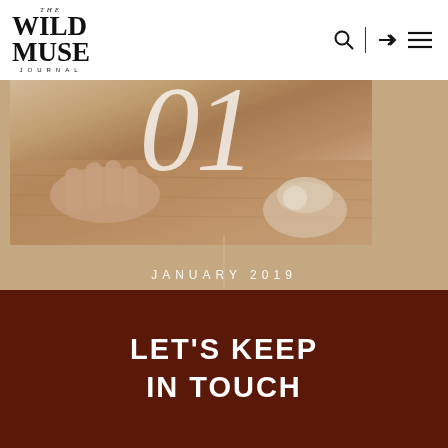THE WILD MUSE JOURNAL
[Figure (photo): A hero section showing a hand near pottery on a wooden surface, with a large italic '01' overlaid in white, a vertical line, and 'JANUARY 2019' text below on a tan background]
LET'S KEEP IN TOUCH